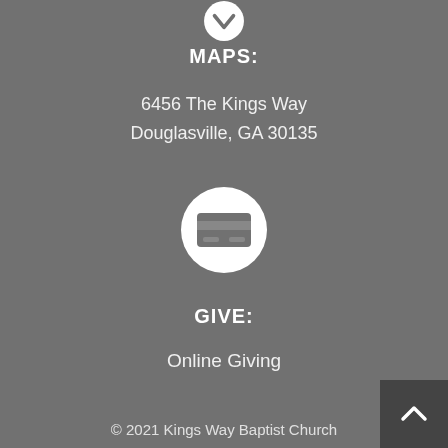[Figure (illustration): White circle icon with a downward-pointing chevron/arrow, partially visible at top of page]
MAPS:
6456 The Kings Way
Douglasville, GA 30135
[Figure (illustration): White circle icon with a credit card symbol inside]
GIVE:
Online Giving
© 2021 Kings Way Baptist Church